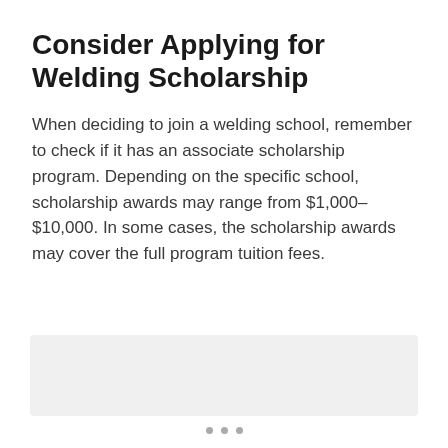Consider Applying for Welding Scholarship
When deciding to join a welding school, remember to check if it has an associate scholarship program. Depending on the specific school, scholarship awards may range from $1,000–$10,000. In some cases, the scholarship awards may cover the full program tuition fees.